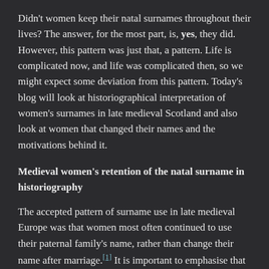Didn't women keep their natal surnames throughout their lives? The answer, for the most part, is, yes, they did. However, this pattern was just that, a pattern. Life is complicated now, and life was complicated then, so we might expect some deviation from this pattern. Today's blog will look at historiographical interpretation of women's surnames in late medieval Scotland and also look at women that changed their names and the motivations behind it.
Medieval women's retention of the natal surname in historiography
The accepted pattern of surname use in late medieval Europe was that women most often continued to use their paternal family's name, rather than change their name after marriage.[1] It is important to emphasise that medieval identity went beyond an individual's name. An elite woman's